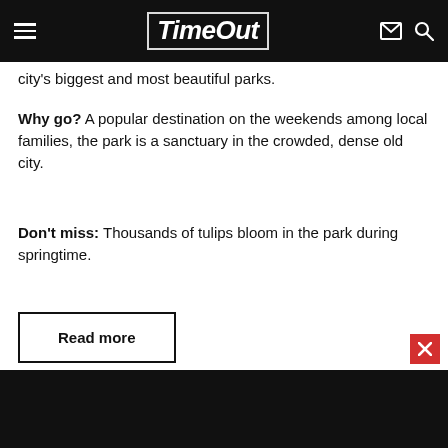TimeOut
city's biggest and most beautiful parks.
Why go? A popular destination on the weekends among local families, the park is a sanctuary in the crowded, dense old city.
Don't miss: Thousands of tulips bloom in the park during springtime.
Read more